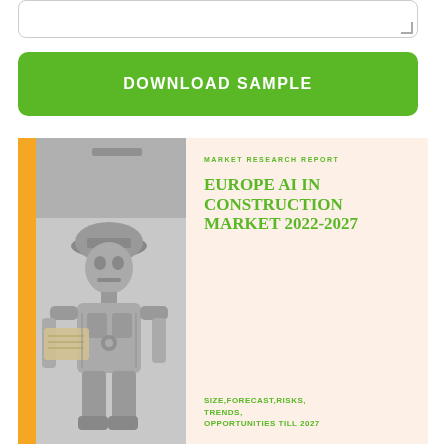[Figure (other): Text input textarea box with resize handle]
DOWNLOAD SAMPLE
[Figure (illustration): Market research report cover image showing a robot wearing a construction helmet, with orange side bar, and cream-colored text panel reading: MARKET RESEARCH REPORT / EUROPE AI IN CONSTRUCTION MARKET 2022-2027 / SIZE, FORECAST, RISKS, TRENDS, OPPORTUNITIES TILL 2027]